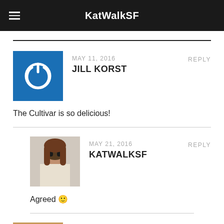KatWalkSF
MAY 11, 2016
JILL KORST
REPLY
The Cultivar is so delicious!
MAY 21, 2016
KATWALKSF
REPLY
Agreed 🙂
MAY 20, 2016
REPLY